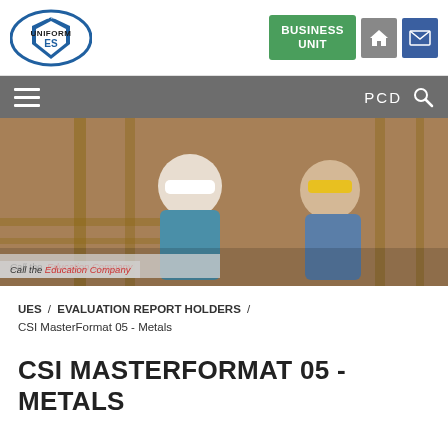[Figure (logo): IAPMO Uniform ES logo with blue oval and shield design]
[Figure (photo): Two construction workers in hard hats reviewing materials at a construction site]
Call the Education Company
UES / EVALUATION REPORT HOLDERS / CSI MasterFormat 05 - Metals
CSI MASTERFORMAT 05 - METALS